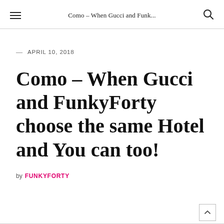Como – When Gucci and Funk...
— APRIL 10, 2018
Como – When Gucci and FunkyForty choose the same Hotel and You can too!
by FUNKYFORTY